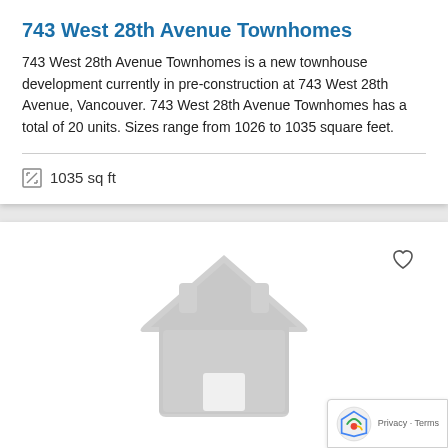743 West 28th Avenue Townhomes
743 West 28th Avenue Townhomes is a new townhouse development currently in pre-construction at 743 West 28th Avenue, Vancouver. 743 West 28th Avenue Townhomes has a total of 20 units. Sizes range from 1026 to 1035 square feet.
1035 sq ft
[Figure (illustration): Placeholder house icon in light grey, representing a property listing image with no photo available. A heart/favorite icon appears in the top right corner. A reCAPTCHA badge with Privacy and Terms links appears in the bottom right.]